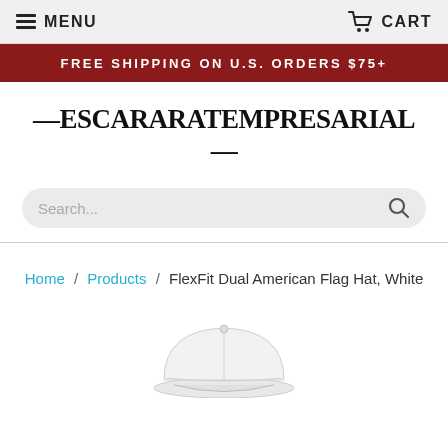MENU   CART
FREE SHIPPING ON U.S. ORDERS $75+
ESCARARATEMPRESARIAL
Search...
Home / Products / FlexFit Dual American Flag Hat, White
[Figure (photo): White baseball cap (FlexFit Dual American Flag Hat, White) shown from a front-angle view against a white background]